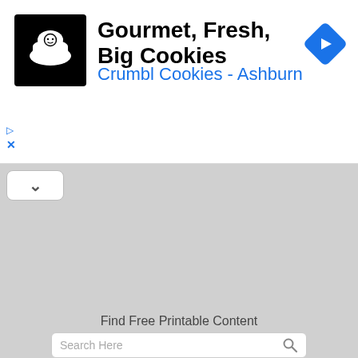[Figure (screenshot): Advertisement banner for Crumbl Cookies - Ashburn with logo, title 'Gourmet, Fresh, Big Cookies', subtitle 'Crumbl Cookies - Ashburn', navigation diamond icon, and ad disclosure markers]
Gourmet, Fresh, Big Cookies
Crumbl Cookies - Ashburn
[Figure (screenshot): Gray map area placeholder]
Find Free Printable Content
[Figure (screenshot): Search bar with placeholder text 'Search Here' and a search icon]